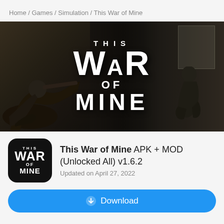Home / Games / Simulation / This War of Mine
[Figure (screenshot): Banner image for 'This War of Mine' game showing a dark war-torn building scene with soldiers on the left and a crouching figure on the right, with the game title 'THIS WAR OF MINE' in large white text in the center]
This War of Mine APK + MOD (Unlocked All) v1.6.2
Updated on April 27, 2022
Download